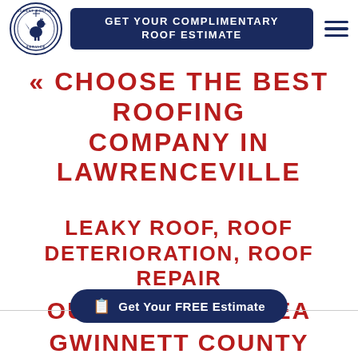[Figure (logo): Accent Roofing Service circular logo with rooster weathervane in navy blue]
GET YOUR COMPLIMENTARY ROOF ESTIMATE
« CHOOSE THE BEST ROOFING COMPANY IN LAWRENCEVILLE
LEAKY ROOF, ROOF DETERIORATION, ROOF REPAIR
OUR SERVICE AREA
Get Your FREE Estimate
GWINNETT COUNTY